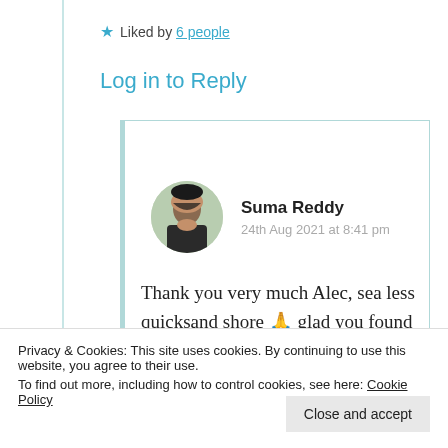★ Liked by 6 people
Log in to Reply
Suma Reddy
24th Aug 2021 at 8:41 pm
Thank you very much Alec, sea less quicksand shore 🙏 glad you found
Privacy & Cookies: This site uses cookies. By continuing to use this website, you agree to their use.
To find out more, including how to control cookies, see here: Cookie Policy
Close and accept